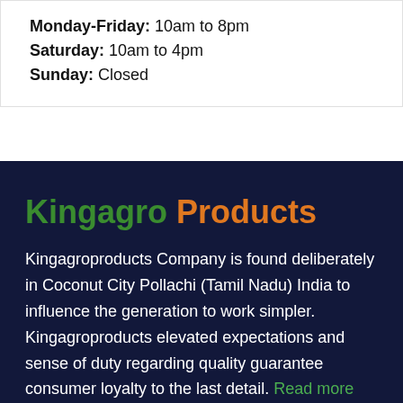Monday-Friday: 10am to 8pm
Saturday: 10am to 4pm
Sunday: Closed
Kingagro Products
Kingagroproducts Company is found deliberately in Coconut City Pollachi (Tamil Nadu) India to influence the generation to work simpler. Kingagroproducts elevated expectations and sense of duty regarding quality guarantee consumer loyalty to the last detail. Read more